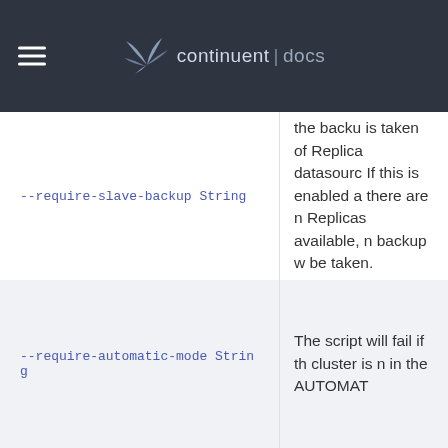continuent | docs
| Parameter | Description |
| --- | --- |
| --require-slave-backup String | the backup is taken of Replica datasource. If this is enabled and there are no Replicas available, no backup will be taken. |
| --require-automatic-mode String | The script will fail if the cluster is not in the AUTOMAT... |